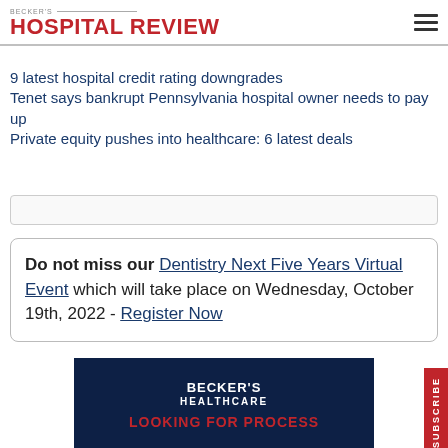BECKER'S HOSPITAL REVIEW
9 latest hospital credit rating downgrades
Tenet says bankrupt Pennsylvania hospital owner needs to pay up
Private equity pushes into healthcare: 6 latest deals
Do not miss our Dentistry Next Five Years Virtual Event which will take place on Wednesday, October 19th, 2022 - Register Now
[Figure (logo): Becker's Healthcare logo with dark navy background and red tagline LOOKING FOR PROCESS]